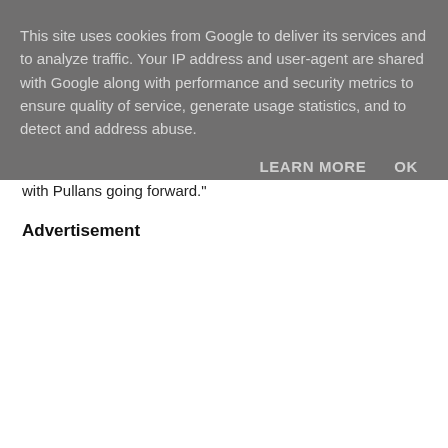This site uses cookies from Google to deliver its services and to analyze traffic. Your IP address and user-agent are shared with Google along with performance and security metrics to ensure quality of service, generate usage statistics, and to detect and address abuse.
LEARN MORE   OK
with Pullans going forward."
Advertisement